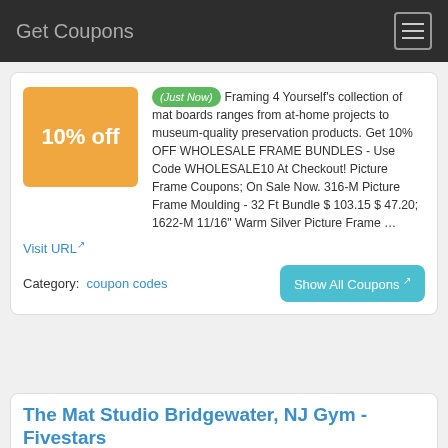Get Coupons
(Just Now) Framing 4 Yourself's collection of mat boards ranges from at-home projects to museum-quality preservation products. Get 10% OFF WHOLESALE FRAME BUNDLES - Use Code WHOLESALE10 At Checkout! Picture Frame Coupons; On Sale Now. 316-M Picture Frame Moulding - 32 Ft Bundle $ 103.15 $ 47.20; 1622-M 11/16" Warm Silver Picture Frame …
Visit URL
Category:  coupon codes
Show All Coupons
The Mat Studio Bridgewater, NJ Gym - Fivestars
(2 days ago) Find The Mat Studio in Bridgewater, NJ rewards, deals, coupons,